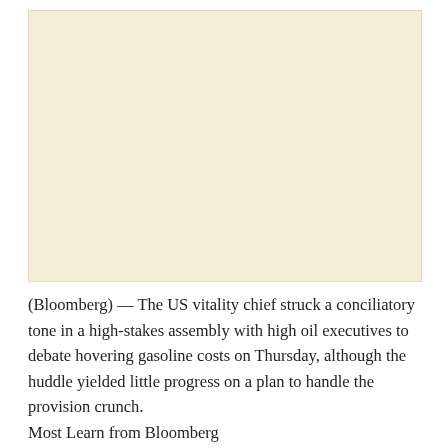[Figure (other): Blank cream/off-white colored image placeholder area]
(Bloomberg) — The US vitality chief struck a conciliatory tone in a high-stakes assembly with high oil executives to debate hovering gasoline costs on Thursday, although the huddle yielded little progress on a plan to handle the provision crunch.
Most Learn from Bloomberg